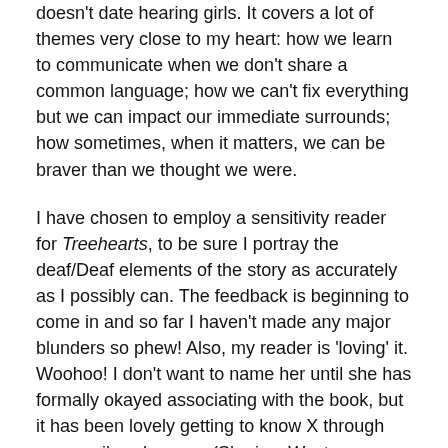doesn't date hearing girls. It covers a lot of themes very close to my heart: how we learn to communicate when we don't share a common language; how we can't fix everything but we can impact our immediate surrounds; how sometimes, when it matters, we can be braver than we thought we were.
I have chosen to employ a sensitivity reader for Treehearts, to be sure I portray the deaf/Deaf elements of the story as accurately as I possibly can. The feedback is beginning to come in and so far I haven't made any major blunders so phew! Also, my reader is 'loving' it. Woohoo! I don't want to name her until she has formally okayed associating with the book, but it has been lovely getting to know X through our email exchanges. (She is a West Australian living overseas.)
I'm also continuing to work with the amazing Kristina Schulz, the exchange student in the RWWA...